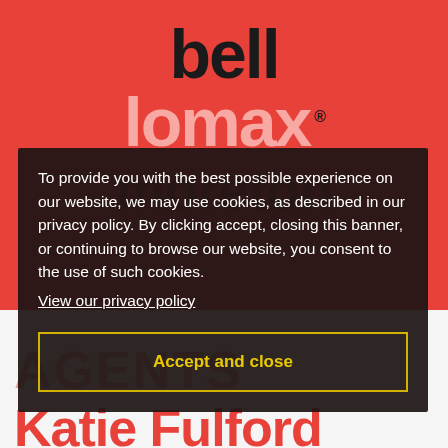[Figure (logo): Bell Lomax Moreton literary agency logo on red background. 'bell' in dark/black bold text, 'lomax' in light pink bold text, 'moreton' in dark semi-transparent bold text, with a registered trademark symbol.]
AGENTS
To provide you with the best possible experience on our website, we may use cookies, as described in our privacy policy. By clicking accept, closing this banner, or continuing to browse our website, you consent to the use of such cookies.
View our privacy policy
Accept and close
Katie Fulford